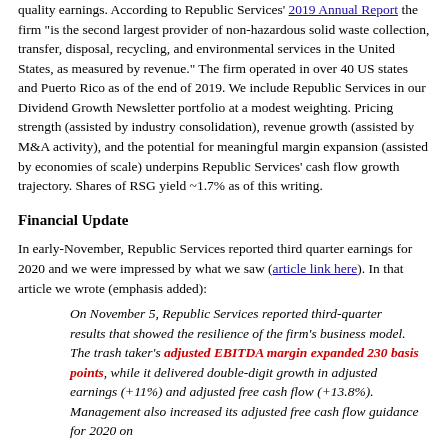quality earnings. According to Republic Services' 2019 Annual Report the firm "is the second largest provider of non-hazardous solid waste collection, transfer, disposal, recycling, and environmental services in the United States, as measured by revenue." The firm operated in over 40 US states and Puerto Rico as of the end of 2019. We include Republic Services in our Dividend Growth Newsletter portfolio at a modest weighting. Pricing strength (assisted by industry consolidation), revenue growth (assisted by M&A activity), and the potential for meaningful margin expansion (assisted by economies of scale) underpins Republic Services' cash flow growth trajectory. Shares of RSG yield ~1.7% as of this writing.
Financial Update
In early-November, Republic Services reported third quarter earnings for 2020 and we were impressed by what we saw (article link here). In that article we wrote (emphasis added):
On November 5, Republic Services reported third-quarter results that showed the resilience of the firm's business model. The trash taker's adjusted EBITDA margin expanded 230 basis points, while it delivered double-digit growth in adjusted earnings (+11%) and adjusted free cash flow (+13.8%). Management also increased its adjusted free cash flow guidance for 2020 on...